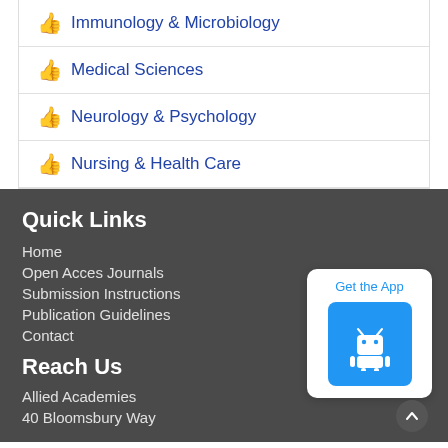Immunology & Microbiology
Medical Sciences
Neurology & Psychology
Nursing & Health Care
Quick Links
Home
Open Acces Journals
Submission Instructions
Publication Guidelines
Contact
Reach Us
Allied Academies
40 Bloomsbury Way
[Figure (illustration): Get the App button with Android robot icon on blue background]